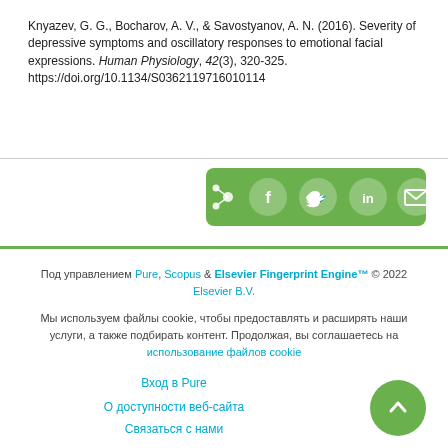Knyazev, G. G., Bocharov, A. V., & Savostyanov, A. N. (2016). Severity of depressive symptoms and oscillatory responses to emotional facial expressions. Human Physiology, 42(3), 320-325. https://doi.org/10.1134/S0362119716010114
[Figure (other): Social share bar with icons for share, Facebook, Twitter, LinkedIn, and email on a green background]
Под управлением Pure, Scopus & Elsevier Fingerprint Engine™ © 2022 Elsevier B.V.
Мы используем файлы cookie, чтобы предоставлять и расширять наши услуги, а также подбирать контент. Продолжая, вы соглашаетесь на использование файлов cookie
Вход в Pure
О доступности веб-сайта
Связаться с нами